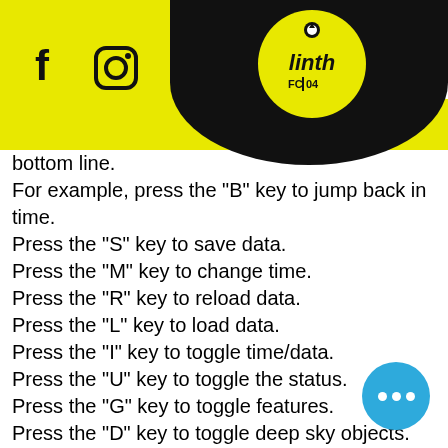Linth FC 04 website header with Facebook, Instagram icons and hamburger menu
bottom line.
For example, press the "B" key to jump back in time.
Press the "S" key to save data.
Press the "M" key to change time.
Press the "R" key to reload data.
Press the "L" key to load data.
Press the "I" key to toggle time/data.
Press the "U" key to toggle the status.
Press the "G" key to toggle features.
Press the "D" key to toggle deep sky objects.
Press the "X" key to toggle map rotation.
Press the "C" key to toggle map projection.
Press the "K" key to toggle moon orbits.
Press the "T" key to toggle Constellations.
Press the "B" key to toggle objects boundaries.
Press the "V" key to toggle sky mode.